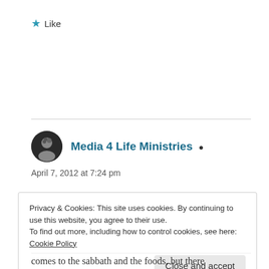★ Like
Media 4 Life Ministries
April 7, 2012 at 7:24 pm
Privacy & Cookies: This site uses cookies. By continuing to use this website, you agree to their use.
To find out more, including how to control cookies, see here:
Cookie Policy
Close and accept
comes to the sabbath and the foods, but there